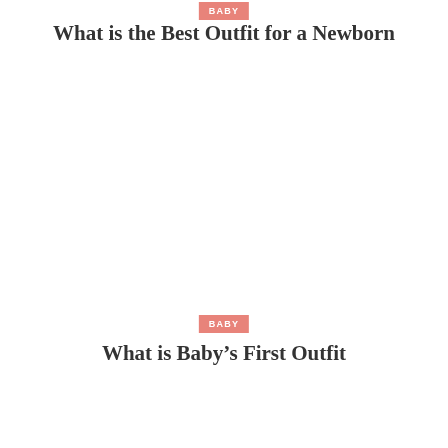BABY
What is the Best Outfit for a Newborn
BABY
What is Baby's First Outfit